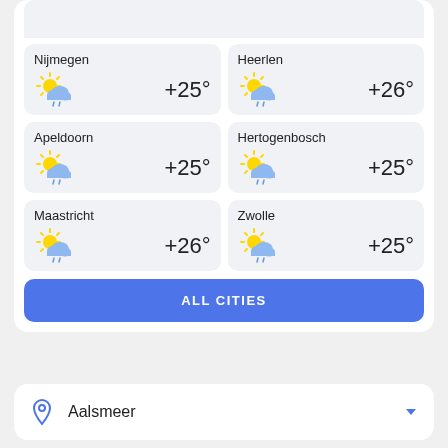[Figure (screenshot): Weather app screenshot showing city weather cards for Nijmegen (+25°), Heerlen (+26°), Apeldoorn (+25°), Hertogenbosch (+25°), Maastricht (+26°), Zwolle (+25°), an ALL CITIES button, and an Aalsmeer location selector at the bottom.]